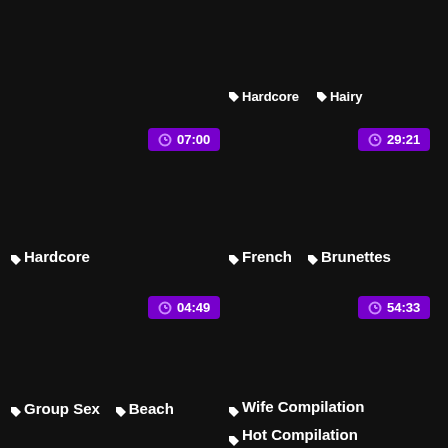🏷Hardcore 🏷Hairy
⏱ 07:00
⏱ 29:21
🏷Hardcore
🏷French 🏷Brunettes
⏱ 04:49
⏱ 54:33
🏷Group Sex 🏷Beach
🏷Wife Compilation 🏷Hot Compilation